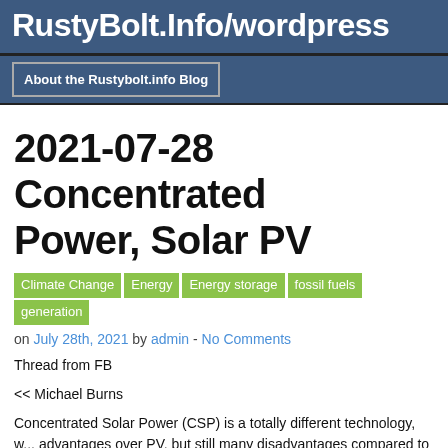RustyBolt.Info/wordpress
About the Rustybolt.info Blog
2021-07-28 Concentrated Power, Solar PV
Climate Change
Energy
Energy storage
fossil fuels
generation
on July 28th, 2021 by admin - No Comments
Thread from FB
<< Michael Burns
Concentrated Solar Power (CSP) is a totally different technology, w... advantages over PV, but still many disadvantages compared to othe... Functionally, CSP is simply thermal energy storage, so like a battery... included in the short term operational plan, and dispatched like any... like a battery, it can't be figured into long-term capacity planning, be... be guaranteed at any given future time. Therefore, for long-term pla...